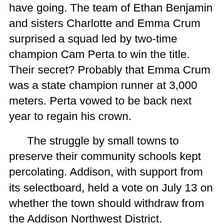have going. The team of Ethan Benjamin and sisters Charlotte and Emma Crum surprised a squad led by two-time champion Cam Perta to win the title. Their secret? Probably that Emma Crum was a state champion runner at 3,000 meters. Perta vowed to be back next year to regain his crown.
The struggle by small towns to preserve their community schools kept percolating. Addison, with support from its selectboard, held a vote on July 13 on whether the town should withdraw from the Addison Northwest District.
Possibly because withdrawal would be complicated by the fact the district, not the town, owns the town's elementary school, and the commute to Vergennes is more reasonable than for some other rural communities, the measure failed, 122-106. Almost